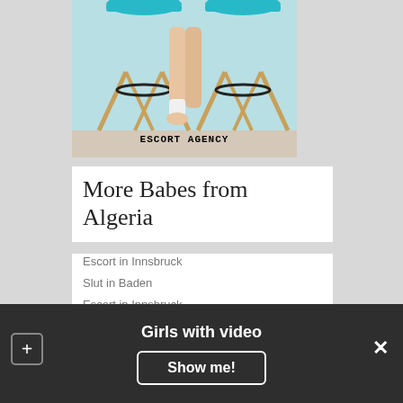[Figure (photo): Photo of a person's legs seated on bar stools with text overlay 'ESCORT AGENCY']
More Babes from Algeria
Escort in Innsbruck
Slut in Baden
Escort in Innsbruck
Escort in Algeria
Czech teen pornstars
Escort in Spa
Whores in Surigao
Girls with video
Show me!